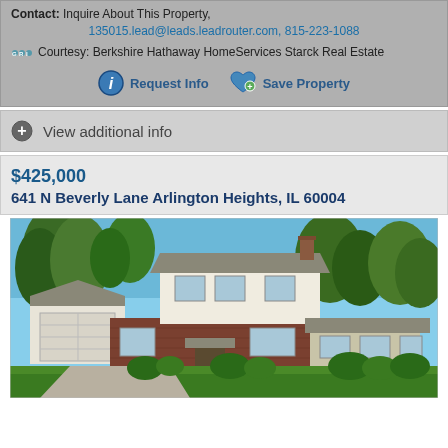Contact: Inquire About This Property,
135015.lead@leads.leadrouter.com, 815-223-1088
Courtesy: Berkshire Hathaway HomeServices Starck Real Estate
Request Info   Save Property
View additional info
$425,000
641 N Beverly Lane Arlington Heights, IL 60004
[Figure (photo): Exterior photo of a two-story residential house at 641 N Beverly Lane Arlington Heights IL 60004, with brick lower level, white siding upper level, attached garage on left, trees in background, blue sky, green lawn in foreground.]